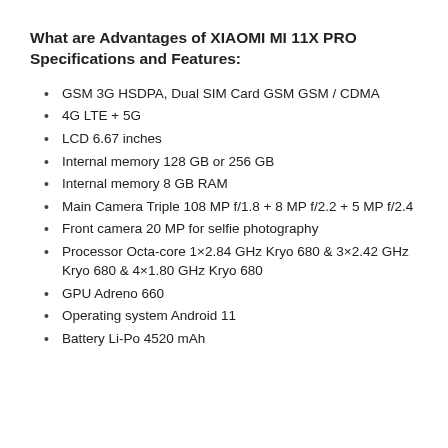What are Advantages of XIAOMI MI 11X PRO Specifications and Features:
GSM 3G HSDPA, Dual SIM Card GSM GSM / CDMA
4G LTE + 5G
LCD 6.67 inches
Internal memory 128 GB or 256 GB
Internal memory 8 GB RAM
Main Camera Triple 108 MP f/1.8 + 8 MP f/2.2 + 5 MP f/2.4
Front camera 20 MP for selfie photography
Processor Octa-core 1×2.84 GHz Kryo 680 & 3×2.42 GHz Kryo 680 & 4×1.80 GHz Kryo 680
GPU Adreno 660
Operating system Android 11
Battery Li-Po 4520 mAh